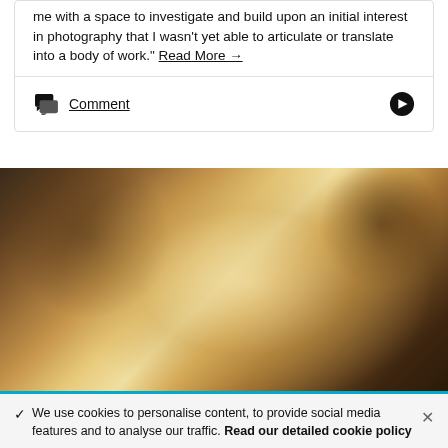me with a space to investigate and build upon an initial interest in photography that I wasn't yet able to articulate or translate into a body of work." Read More →
Comment
[Figure (photo): Close-up photograph of a person's hair and neck with warm golden/amber light illuminating the skin against a dark background]
✓ We use cookies to personalise content, to provide social media features and to analyse our traffic. Read our detailed cookie policy